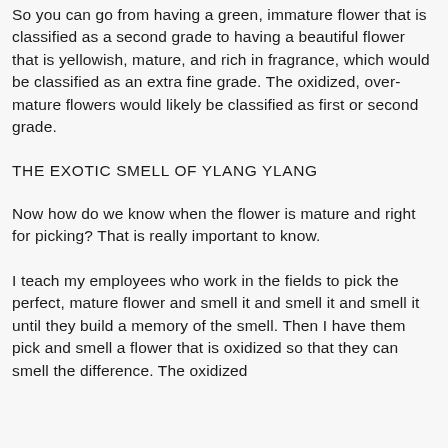So you can go from having a green, immature flower that is classified as a second grade to having a beautiful flower that is yellowish, mature, and rich in fragrance, which would be classified as an extra fine grade. The oxidized, over-mature flowers would likely be classified as first or second grade.
THE EXOTIC SMELL OF YLANG YLANG
Now how do we know when the flower is mature and right for picking? That is really important to know.
I teach my employees who work in the fields to pick the perfect, mature flower and smell it and smell it and smell it until they build a memory of the smell. Then I have them pick and smell a flower that is oxidized so that they can smell the difference. The oxidized